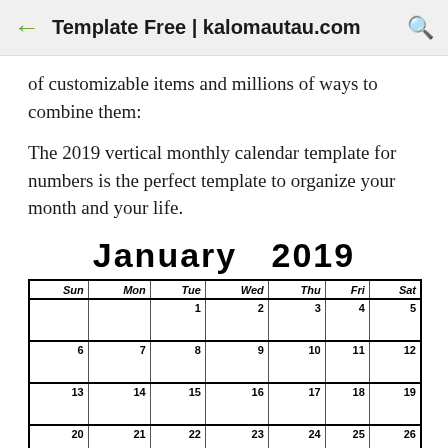Template Free | kalomautau.com
of customizable items and millions of ways to combine them:
The 2019 vertical monthly calendar template for numbers is the perfect template to organize your month and your life.
January 2019
| Sun | Mon | Tue | Wed | Thu | Fri | Sat |
| --- | --- | --- | --- | --- | --- | --- |
|  |  | 1 | 2 | 3 | 4 | 5 |
| 6 | 7 | 8 | 9 | 10 | 11 | 12 |
| 13 | 14 | 15 | 16 | 17 | 18 | 19 |
| 20 | 21 | 22 | 23 | 24 | 25 | 26 |